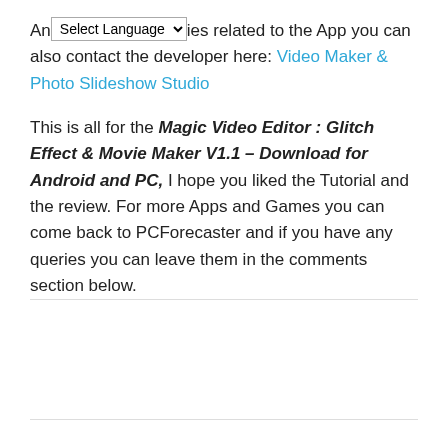And any queries related to the App you can also contact the developer here: Video Maker & Photo Slideshow Studio
This is all for the Magic Video Editor : Glitch Effect & Movie Maker V1.1 – Download for Android and PC, I hope you liked the Tutorial and the review. For more Apps and Games you can come back to PCForecaster and if you have any queries you can leave them in the comments section below.